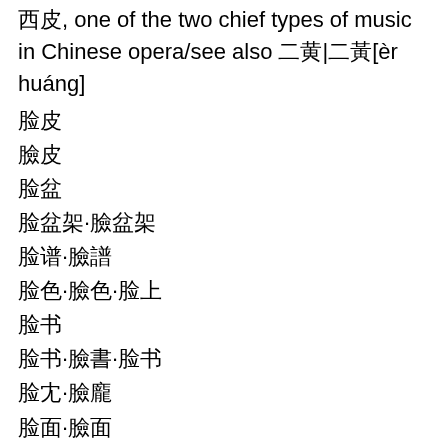Xipi, one of the two chief types of music in Chinese opera/see also 二黄|二黃[èr huáng]
脸皮
臉皮
脸盆
脸盆架·臉盆架
脸谱·臉譜
脸色·臉色·脸上
脸书
脸书·臉書·脸书
脸庞·臉龐
脸面·臉面
脸蛋
脸皮薄     liǎnpíbáo, [臉皮薄], thin-skinned/sensitive
脸皮厚
脸盆架
脸蛋儿·臉蛋兒